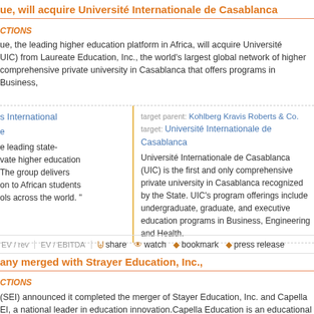ue, will acquire Université Internationale de Casablanca
CTIONS
ue, the leading higher education platform in Africa, will acquire Université UIC) from Laureate Education, Inc., the world's largest global network of higher comprehensive private university in Casablanca that offers programs in Business,
s International
e
e leading state-
vate higher education
The group delivers
on to African students
ols across the world. "
target parent: Kohlberg Kravis Roberts & Co.
target: Université Internationale de Casablanca
Université Internationale de Casablanca (UIC) is the first and only comprehensive private university in Casablanca recognized by the State. UIC's program offerings include undergraduate, graduate, and executive education programs in Business, Engineering and Health.
EV / rev  EV / EBITDA  share  watch  bookmark  press release
any merged with Strayer Education, Inc.,
CTIONS
(SEI) announced it completed the merger of Stayer Education, Inc. and Capella EI, a national leader in education innovation.Capella Education is an educational access to high-quality education through online postsecondary degree programs